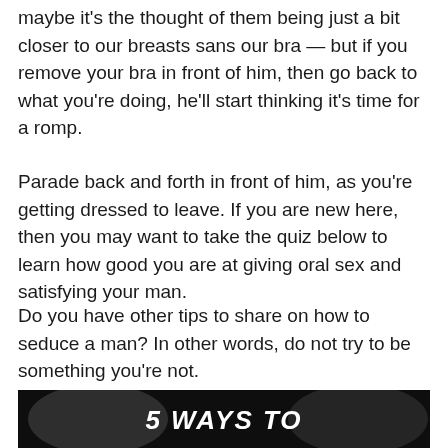maybe it's the thought of them being just a bit closer to our breasts sans our bra — but if you remove your bra in front of him, then go back to what you're doing, he'll start thinking it's time for a romp.
Parade back and forth in front of him, as you're getting dressed to leave. If you are new here, then you may want to take the quiz below to learn how good you are at giving oral sex and satisfying your man.
Do you have other tips to share on how to seduce a man? In other words, do not try to be something you're not.
[Figure (photo): Black and white photo of two people about to kiss, with bold white text overlay reading '5 WAYS TO']